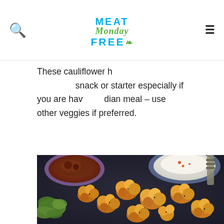Meat Free Monday — navigation header with logo
These cauliflower h... snack or starter especially if you are hav... dian meal – use other veggies if preferred.
[Figure (photo): Overhead photo of spiced roasted cauliflower florets on a dark tray, with a small bowl of dark chutney and a bowl of white raita/yogurt dip, garnished with fresh coriander and a spatula visible at the edge.]